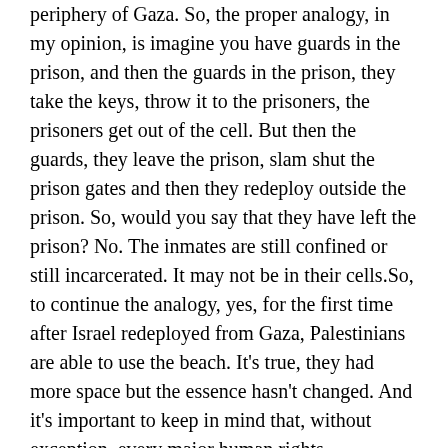periphery of Gaza. So, the proper analogy, in my opinion, is imagine you have guards in the prison, and then the guards in the prison, they take the keys, throw it to the prisoners, the prisoners get out of the cell. But then the guards, they leave the prison, slam shut the prison gates and then they redeploy outside the prison. So, would you say that they have left the prison? No. The inmates are still confined or still incarcerated. It may not be in their cells.So, to continue the analogy, yes, for the first time after Israel redeployed from Gaza, Palestinians are able to use the beach. It's true, they had more space but the essence hasn't changed. And it's important to keep in mind that, without exception, every major human rights organization has characterized the situation in Gaza as an occupation after 2006, when Israel completed its redeployment, continued to characterize it as an occupation. And even the quite conservative leading Israeli international law authority, Yoram Dinstein, he said the occupation continues. The claim that the occupation doesn't continue, it's not even marginal, it doesn't exist among the